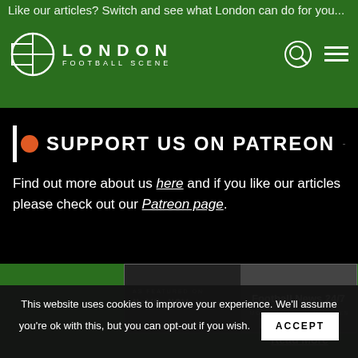LONDON FOOTBALL SCENE
Like our articles? Switch and see what London can do for you...
SUPPORT US ON PATREON
Find out more about us here and if you like our articles please check out our Patreon page.
[Figure (screenshot): News Now - As Featured On banner with Football News 24/7 text]
[Figure (screenshot): More Than 90 Minutes - London branding with Read More link]
This website uses cookies to improve your experience. We'll assume you're ok with this, but you can opt-out if you wish.
ACCEPT